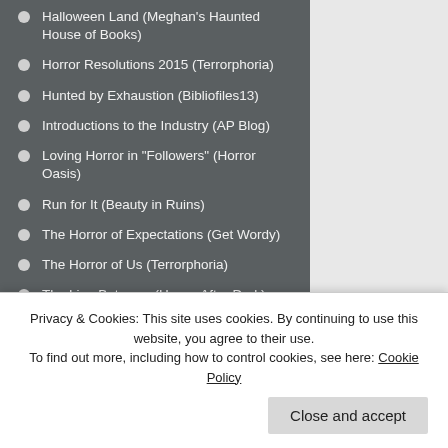Halloween Land (Meghan's Haunted House of Books)
Horror Resolutions 2015 (Terrorphoria)
Hunted by Exhaustion (Bibliofiles13)
Introductions to the Industry (AP Blog)
Loving Horror in "Followers" (Horror Oasis)
Run for It (Beauty in Ruins)
The Horror of Expectations (Get Wordy)
The Horror of Us (Terrorphoria)
The Line Between (Horror After Dark)
The Writer's Escape (Steel City Intrigue)
Trick r Treat and Halloween (Meghan's Haunted House of Books)
When Halloween Takes Over (Meghan's Haunted House of Books)
Why We Love Horror (Terrorphoria)
Privacy & Cookies: This site uses cookies. By continuing to use this website, you agree to their use.
To find out more, including how to control cookies, see here: Cookie Policy
Close and accept